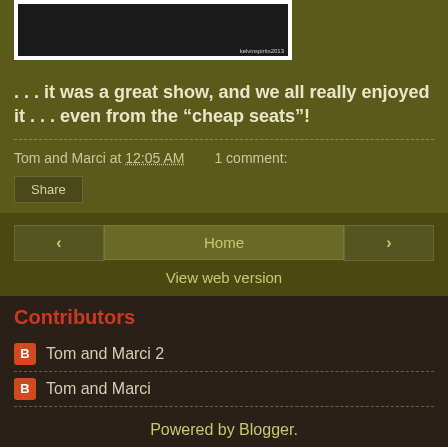[Figure (photo): Dark/black image with small watermark text at bottom right]
. . . it was a great show, and we all really enjoyed it . . . even from the “cheap seats”!
Tom and Marci at 12:05 AM   1 comment:
Share
Home
View web version
Contributors
Tom and Marci 2
Tom and Marci
Powered by Blogger.